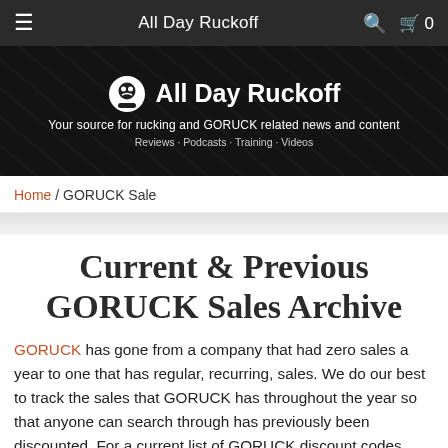All Day Ruckoff
[Figure (logo): All Day Ruckoff hero banner with skull logo, site name, tagline 'Your source for rucking and GORUCK related news and content', and subtext 'Reviews · Podcasts · Training · Videos']
Home / GORUCK Sale
Current & Previous GORUCK Sales Archive
GORUCK has gone from a company that had zero sales a year to one that has regular, recurring, sales. We do our best to track the sales that GORUCK has throughout the year so that anyone can search through has previously been discounted. For a current list of GORUCK discount codes